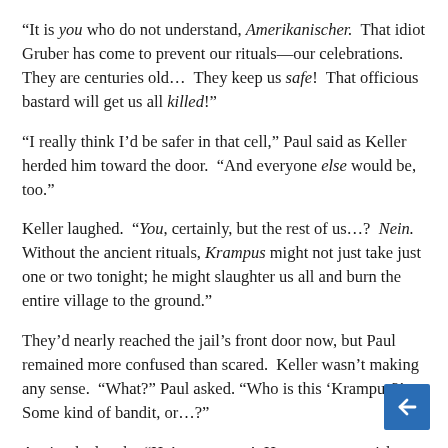“It is you who do not understand, Amerikanischer. That idiot Gruber has come to prevent our rituals—our celebrations. They are centuries old... They keep us safe! That officious bastard will get us all killed!”
“I really think I’d be safer in that cell,” Paul said as Keller herded him toward the door. “And everyone else would be, too.”
Keller laughed. “You, certainly, but the rest of us…? Nein. Without the ancient rituals, Krampus might not just take just one or two tonight; he might slaughter us all and burn the entire village to the ground.”
They’d nearly reached the jail’s front door now, but Paul remained more confused than scared. Keller wasn’t making any sense. “What?” Paul asked. “Who is this ‘Krampus?’ Some kind of bandit, or…?”
Again, the laugh. “He’s a monster! He comes to punish the wicked during the Yuletide. Our yearly sacrifice keeps us safe,